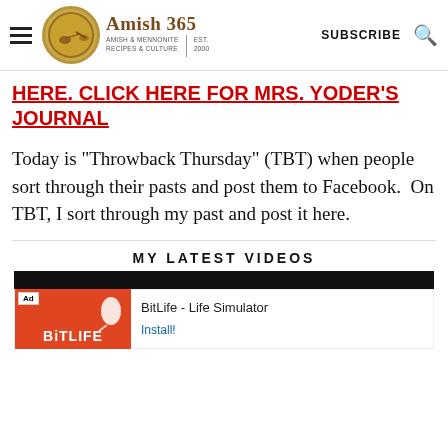Amish 365 | AMISH & MENNONITE RECIPES & CULTURE | EST. 2000 | SUBSCRIBE
HERE. CLICK HERE FOR MRS. YODER'S JOURNAL
Today is "Throwback Thursday" (TBT) when people sort through their pasts and post them to Facebook.  On TBT, I sort through my past and post it here.
MY LATEST VIDEOS
[Figure (screenshot): Video thumbnail bar (black) and BitLife advertisement below it]
BitLife - Life Simulator — Install!